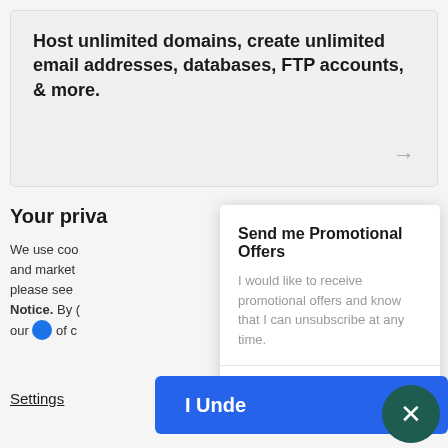Host unlimited domains, create unlimited email addresses, databases, FTP accounts, & more.
Your priva
We use coo and market please see Notice. By our of c
Settings
Send me Promotional Offers
I would like to receive promotional offers and know that I can unsubscribe at any time.
Enter your email
I Unde